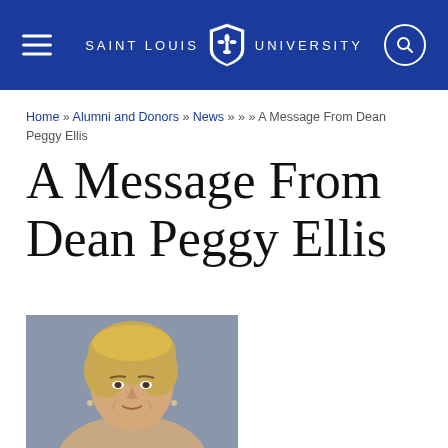SAINT LOUIS UNIVERSITY
Home » Alumni and Donors » News » » » A Message From Dean Peggy Ellis
A Message From Dean Peggy Ellis
[Figure (photo): Headshot portrait photograph of Dean Peggy Ellis, a woman with short blonde hair, smiling slightly, against a blue-grey background.]